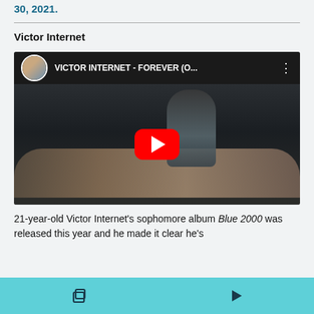30, 2021.
Victor Internet
[Figure (screenshot): YouTube video thumbnail for 'VICTOR INTERNET - FOREVER (O...' showing two people in a dark room, with a red YouTube play button in the center. A channel avatar is shown in the top-left of the video bar.]
21-year-old Victor Internet's sophomore album Blue 2000 was released this year and he made it clear he's